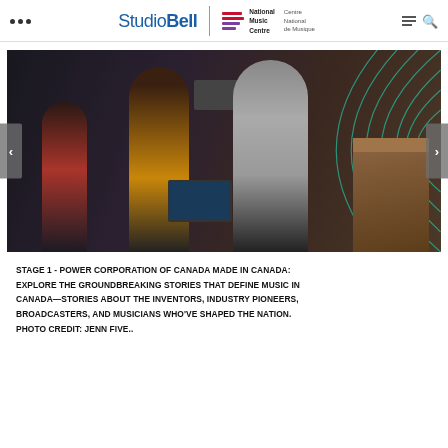Studio Bell | National Music Centre / Centre National de Musique
[Figure (photo): Interior of Studio Bell museum showing people wearing headphones in a recording studio exhibit with musical instruments including an organ, and decorative arcs on the ceiling/wall.]
STAGE 1 - POWER CORPORATION OF CANADA MADE IN CANADA: EXPLORE THE GROUNDBREAKING STORIES THAT DEFINE MUSIC IN CANADA—STORIES ABOUT THE INVENTORS, INDUSTRY PIONEERS, BROADCASTERS, AND MUSICIANS WHO'VE SHAPED THE NATION. PHOTO CREDIT: JENN FIVE..